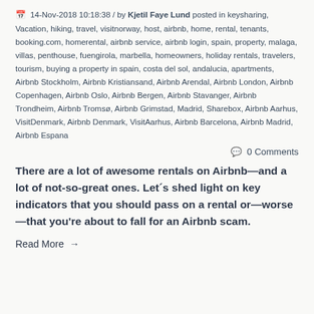📅 14-Nov-2018 10:18:38 / by Kjetil Faye Lund posted in keysharing, Vacation, hiking, travel, visitnorway, host, airbnb, home, rental, tenants, booking.com, homerental, airbnb service, airbnb login, spain, property, malaga, villas, penthouse, fuengirola, marbella, homeowners, holiday rentals, travelers, tourism, buying a property in spain, costa del sol, andalucia, apartments, Airbnb Stockholm, Airbnb Kristiansand, Airbnb Arendal, Airbnb London, Airbnb Copenhagen, Airbnb Oslo, Airbnb Bergen, Airbnb Stavanger, Airbnb Trondheim, Airbnb Tromsø, Airbnb Grimstad, Madrid, Sharebox, Airbnb Aarhus, VisitDenmark, Airbnb Denmark, VisitAarhus, Airbnb Barcelona, Airbnb Madrid, Airbnb Espana
💬 0 Comments
There are a lot of awesome rentals on Airbnb—and a lot of not-so-great ones. Let´s shed light on key indicators that you should pass on a rental or—worse—that you're about to fall for an Airbnb scam.
Read More →